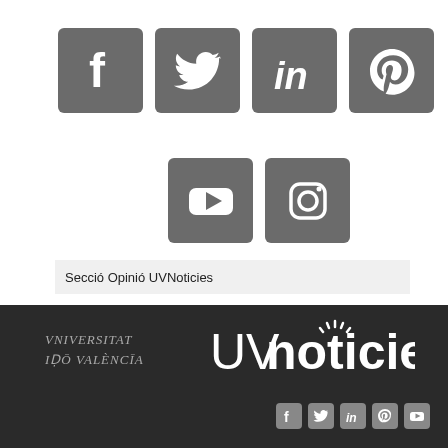[Figure (logo): Six social media icons: Facebook, Twitter, LinkedIn, Pinterest (top row), YouTube, Instagram (second row), each as grey rounded squares]
Secció Opinió UVNoticies
[Figure (logo): Universitat de València logo (UV crest with text) on dark background]
[Figure (logo): UVnoticies logo on dark background]
[Figure (logo): Small social media icons row at bottom: Facebook, Twitter, LinkedIn, Pinterest, YouTube]